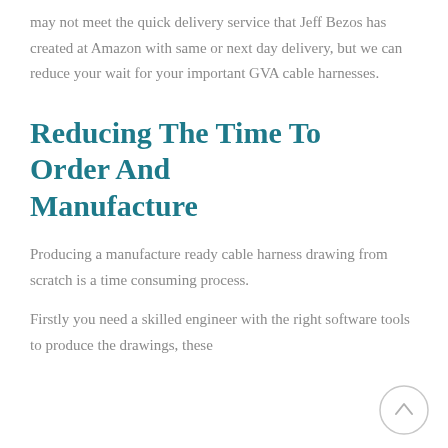may not meet the quick delivery service that Jeff Bezos has created at Amazon with same or next day delivery, but we can reduce your wait for your important GVA cable harnesses.
Reducing The Time To Order And Manufacture
Producing a manufacture ready cable harness drawing from scratch is a time consuming process.
Firstly you need a skilled engineer with the right software tools to produce the drawings, these